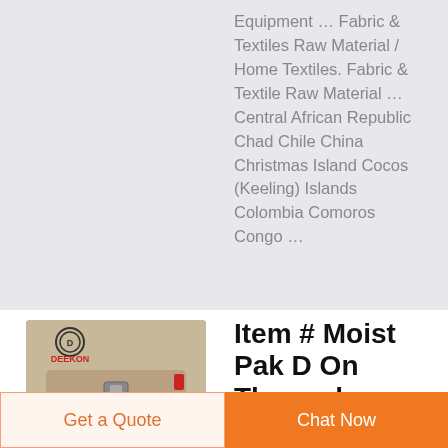Equipment ... Fabric & Textiles Raw Material / Home Textiles. Fabric & Textile Raw Material ... Central African Republic Chad Chile China Christmas Island Cocos (Keeling) Islands Colombia Comoros Congo ...
[Figure (photo): Product photo of a tan/khaki military-style pouch bag with DEEKON logo and red accent]
Item # Moist Pak D On Thermal
Get a Quote
Chat Now